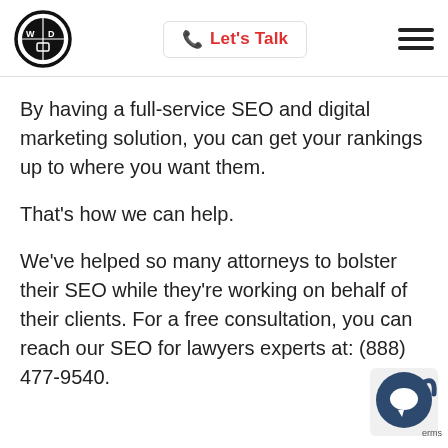Let's Talk
By having a full-service SEO and digital marketing solution, you can get your rankings up to where you want them.
That's how we can help.
We've helped so many attorneys to bolster their SEO while they're working on behalf of their clients. For a free consultation, you can reach our SEO for lawyers experts at: (888) 477-9540.